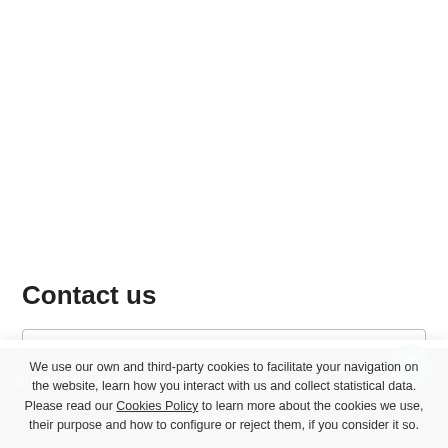Contact us
Name (*)
We use our own and third-party cookies to facilitate your navigation on the website, learn how you interact with us and collect statistical data. Please read our Cookies Policy to learn more about the cookies we use, their purpose and how to configure or reject them, if you consider it so.
Accept all
Manage Cookies
Reject
QUESTION?
Interested in  vSoor v